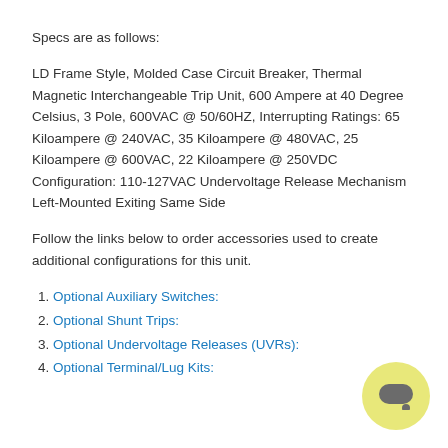Specs are as follows:
LD Frame Style, Molded Case Circuit Breaker, Thermal Magnetic Interchangeable Trip Unit, 600 Ampere at 40 Degree Celsius, 3 Pole, 600VAC @ 50/60HZ, Interrupting Ratings: 65 Kiloampere @ 240VAC, 35 Kiloampere @ 480VAC, 25 Kiloampere @ 600VAC, 22 Kiloampere @ 250VDC Configuration: 110-127VAC Undervoltage Release Mechanism Left-Mounted Exiting Same Side
Follow the links below to order accessories used to create additional configurations for this unit.
1. Optional Auxiliary Switches:
2. Optional Shunt Trips:
3. Optional Undervoltage Releases (UVRs):
4. Optional Terminal/Lug Kits:
[Figure (illustration): Yellow circular chat bubble icon in bottom right corner]